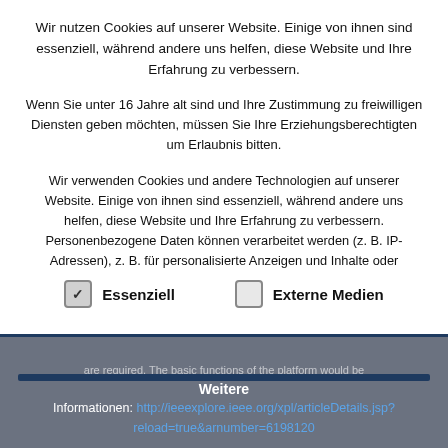Wir nutzen Cookies auf unserer Website. Einige von ihnen sind essenziell, während andere uns helfen, diese Website und Ihre Erfahrung zu verbessern.
Wenn Sie unter 16 Jahre alt sind und Ihre Zustimmung zu freiwilligen Diensten geben möchten, müssen Sie Ihre Erziehungsberechtigten um Erlaubnis bitten.
Wir verwenden Cookies und andere Technologien auf unserer Website. Einige von ihnen sind essenziell, während andere uns helfen, diese Website und Ihre Erfahrung zu verbessern. Personenbezogene Daten können verarbeitet werden (z. B. IP-Adressen), z. B. für personalisierte Anzeigen und Inhalte oder
Essenziell
Externe Medien
e-Health solutions on this Platform has been performed successfully.
Weitere Informationen: http://ieeexplore.ieee.org/xpl/articleDetails.jsp?reload=true&arnumber=6198120